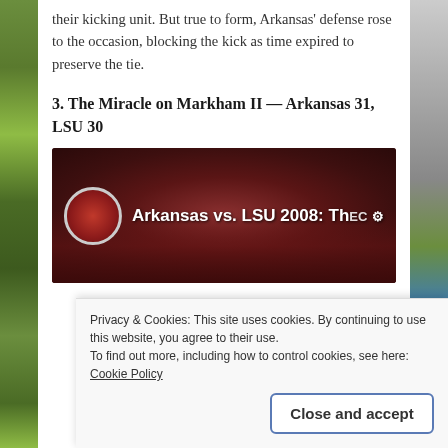their kicking unit. But true to form, Arkansas' defense rose to the occasion, blocking the kick as time expired to preserve the tie.
3. The Miracle on Markham II — Arkansas 31, LSU 30
[Figure (screenshot): Video thumbnail showing Arkansas vs. LSU 2008 game footage with crowd in background and video title overlay]
Privacy & Cookies: This site uses cookies. By continuing to use this website, you agree to their use.
To find out more, including how to control cookies, see here: Cookie Policy
Close and accept